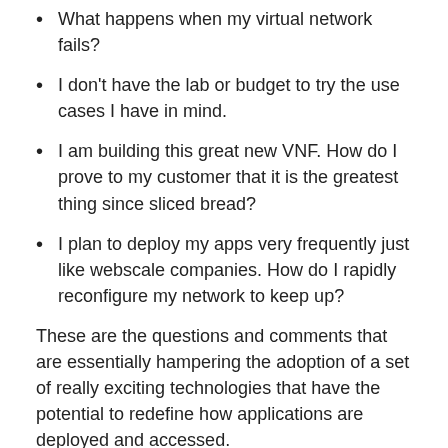What happens when my virtual network fails?
I don't have the lab or budget to try the use cases I have in mind.
I am building this great new VNF. How do I prove to my customer that it is the greatest thing since sliced bread?
I plan to deploy my apps very frequently just like webscale companies. How do I rapidly reconfigure my network to keep up?
These are the questions and comments that are essentially hampering the adoption of a set of really exciting technologies that have the potential to redefine how applications are deployed and accessed.